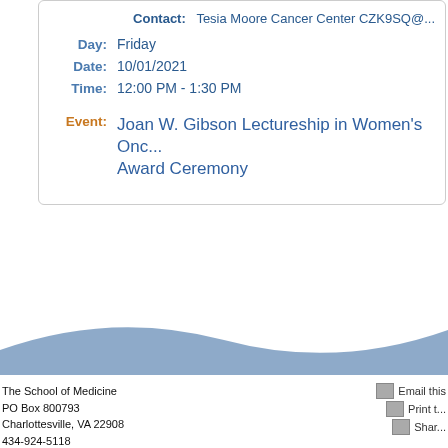Contact: Tesia Moore Cancer Center CZK9SQ@...
Day: Friday
Date: 10/01/2021
Time: 12:00 PM - 1:30 PM
Event: Joan W. Gibson Lectureship in Women's Oncology Award Ceremony
[Figure (illustration): Blue wave decorative section divider]
The School of Medicine
PO Box 800793
Charlottesville, VA 22908
434-924-5118
fax: 434-982-0874